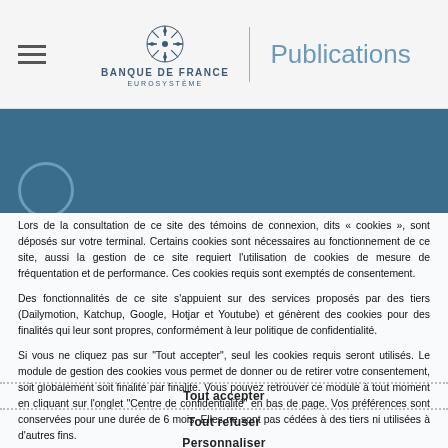Banque de France Eurosystème — Publications
Lors de la consultation de ce site des témoins de connexion, dits « cookies », sont déposés sur votre terminal. Certains cookies sont nécessaires au fonctionnement de ce site, aussi la gestion de ce site requiert l'utilisation de cookies de mesure de fréquentation et de performance. Ces cookies requis sont exemptés de consentement.
Des fonctionnalités de ce site s'appuient sur des services proposés par des tiers (Dailymotion, Katchup, Google, Hotjar et Youtube) et génèrent des cookies pour des finalités qui leur sont propres, conformément à leur politique de confidentialité.
Si vous ne cliquez pas sur "Tout accepter", seul les cookies requis seront utilisés. Le module de gestion des cookies vous permet de donner ou de retirer votre consentement, soit globalement soit finalité par finalité. Vous pouvez retrouver ce module à tout moment en cliquant sur l'onglet "Centre de confidentialité" en bas de page. Vos préférences sont conservées pour une durée de 6 mois. Elles ne sont pas cédées à des tiers ni utilisées à d'autres fins.
Tout accepter
Tout refuser
Personnaliser